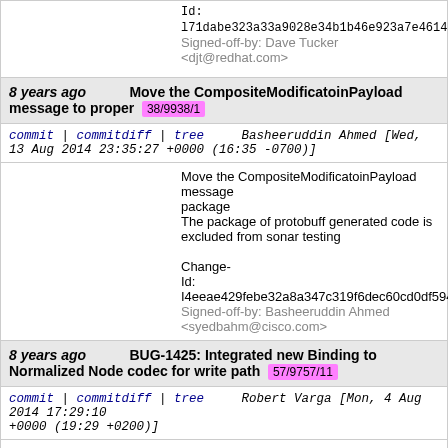Id: l71dabe323a33a9028e34b1b46e923a7e4614... Signed-off-by: Dave Tucker <djt@redhat.com>
8 years ago  Move the CompositeModificatoinPayload message to proper  38/9938/1
commit | commitdiff | tree   Basheeruddin Ahmed [Wed, 13 Aug 2014 23:35:27 +0000 (16:35 -0700)]
Move the CompositeModificatoinPayload message to proper package
The package of protobuff generated code is excluded from sonar testing

Change-Id: I4eeae429febe32a8a347c319f6dec60cd0df594...
Signed-off-by: Basheeruddin Ahmed <syedbahm@cisco.com>
8 years ago  BUG-1425: Integrated new Binding to Normalized Node codec for write path  57/9757/11
commit | commitdiff | tree   Robert Varga [Mon, 4 Aug 2014 17:29:10 +0000 (19:29 +0200)]
BUG-1425: Integrated new Binding to Normalized Node...

Integrated binding to normalized node codec for w... for deserialization legacy codecs are still used.